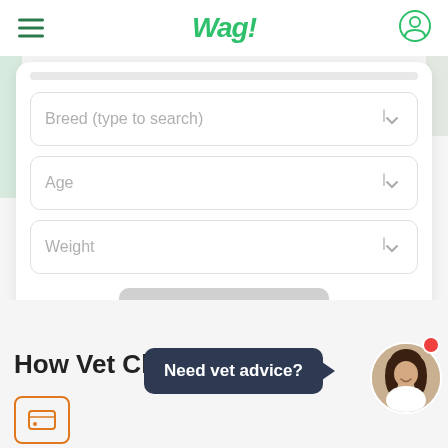Wag!
[Figure (screenshot): Wag! app form with Breed, Age, Weight dropdowns and Continue to chat button]
How Vet Cha
Need vet advice?
[Figure (illustration): Orange icon box at bottom left]